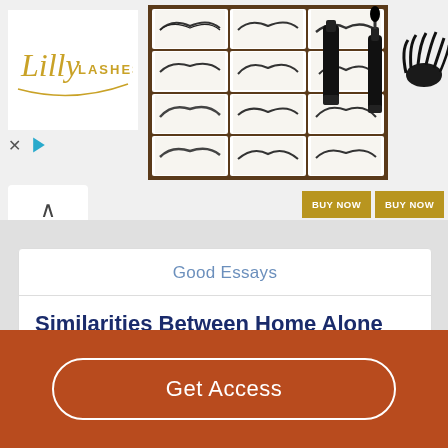[Figure (photo): Lilly Lashes advertisement banner showing logo, eyelash products in packaging grid, mascara tubes, fluffy false eyelash, and two BUY NOW buttons]
Good Essays
Similarities Between Home Alone And Ransom Of Red Chief
Get Access